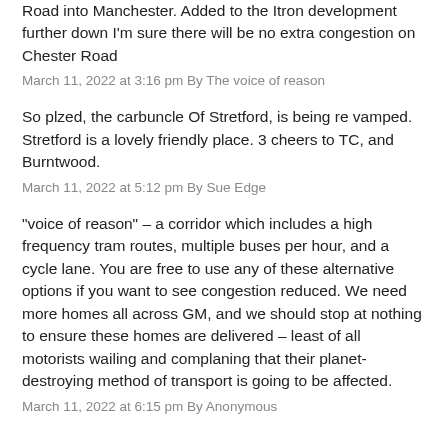Road into Manchester. Added to the Itron development further down I'm sure there will be no extra congestion on Chester Road
March 11, 2022 at 3:16 pm By The voice of reason
So plzed, the carbuncle Of Stretford, is being re vamped. Stretford is a lovely friendly place. 3 cheers to TC, and Burntwood.
March 11, 2022 at 5:12 pm By Sue Edge
“voice of reason” – a corridor which includes a high frequency tram routes, multiple buses per hour, and a cycle lane. You are free to use any of these alternative options if you want to see congestion reduced. We need more homes all across GM, and we should stop at nothing to ensure these homes are delivered – least of all motorists wailing and complaning that their planet-destroying method of transport is going to be affected.
March 11, 2022 at 6:15 pm By Anonymous